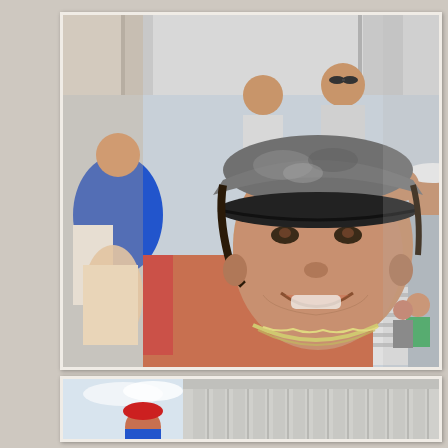[Figure (photo): Close-up photo of an older woman wearing a gray patterned baseball cap and silver chain necklace, smiling at the camera. She is surrounded by a crowd of tourists at what appears to be the Lincoln Memorial in Washington D.C. A younger woman is partially visible on the right edge.]
[Figure (photo): Photo of the Lincoln Memorial exterior showing large stone columns. People visible in the foreground including a person wearing a red cap.]